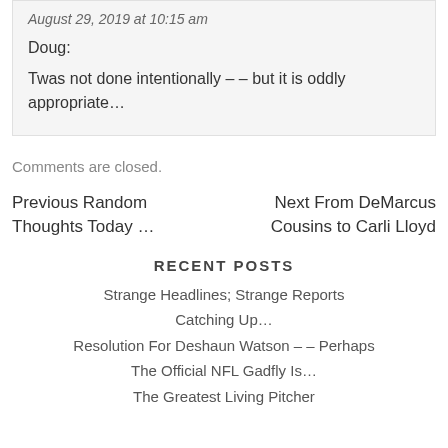August 29, 2019 at 10:15 am
Doug:
Twas not done intentionally – – but it is oddly appropriate…
Comments are closed.
Previous Random Thoughts Today …
Next From DeMarcus Cousins to Carli Lloyd
RECENT POSTS
Strange Headlines; Strange Reports
Catching Up…
Resolution For Deshaun Watson – – Perhaps
The Official NFL Gadfly Is…
The Greatest Living Pitcher